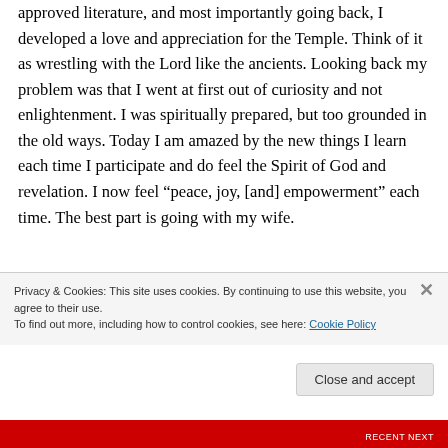approved literature, and most importantly going back, I developed a love and appreciation for the Temple. Think of it as wrestling with the Lord like the ancients. Looking back my problem was that I went at first out of curiosity and not enlightenment. I was spiritually prepared, but too grounded in the old ways. Today I am amazed by the new things I learn each time I participate and do feel the Spirit of God and revelation. I now feel “peace, joy, [and] empowerment” each time. The best part is going with my wife.
Privacy & Cookies: This site uses cookies. By continuing to use this website, you agree to their use.
To find out more, including how to control cookies, see here: Cookie Policy